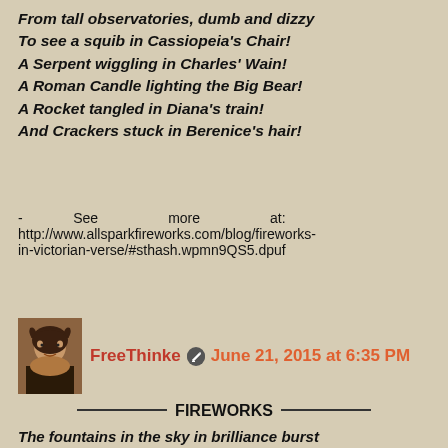From tall observatories, dumb and dizzy
To see a squib in Cassiopeia's Chair!
A Serpent wiggling in Charles' Wain!
A Roman Candle lighting the Big Bear!
A Rocket tangled in Diana's train!
And Crackers stuck in Berenice's hair!
- See more at: http://www.allsparkfireworks.com/blog/fireworks-in-victorian-verse/#sthash.wpmn9QS5.dpuf
FreeThinke June 21, 2015 at 6:35 PM
FIREWORKS
The fountains in the sky in brilliance burst
Over throngs who thrill as patterns spread
In radiant arms of glowing hues disbursed
Natant in the blackness overhead.
Deafening as any cannonade
Explosions follow soon the hiss and squeal --
Preliminaries to the star brigade